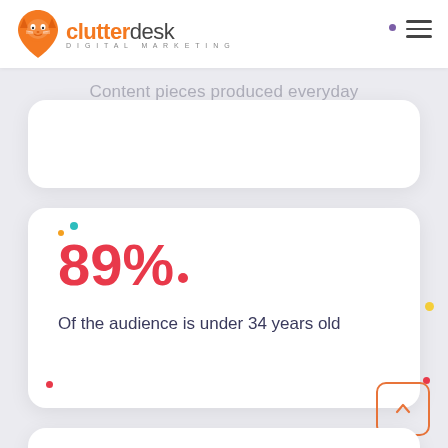[Figure (logo): Clutter Desk Digital Marketing logo with orange cat face icon and brand name]
Content pieces produced everyday
89%.
Of the audience is under 34 years old
94%